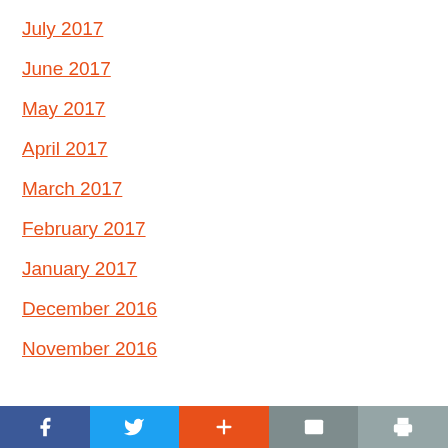July 2017
June 2017
May 2017
April 2017
March 2017
February 2017
January 2017
December 2016
November 2016
Social share bar: Facebook, Twitter, Plus, Email, Print